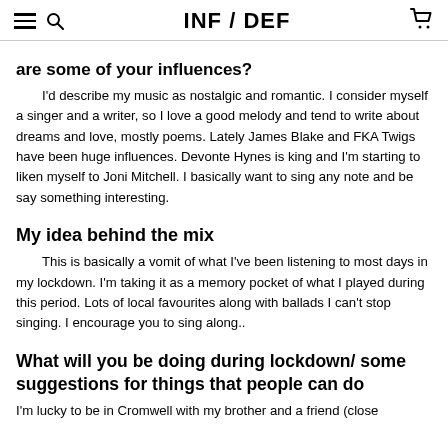INF / DEF
are some of your influences?
I'd describe my music as nostalgic and romantic. I consider myself a singer and a writer, so I love a good melody and tend to write about dreams and love, mostly poems. Lately James Blake and FKA Twigs have been huge influences. Devonte Hynes is king and I'm starting to liken myself to Joni Mitchell. I basically want to sing any note and be say something interesting.
My idea behind the mix
This is basically a vomit of what I've been listening to most days in my lockdown. I'm taking it as a memory pocket of what I played during this period. Lots of local favourites along with ballads I can't stop singing. I encourage you to sing along..
What will you be doing during lockdown/ some suggestions for things that people can do
I'm lucky to be in Cromwell with my brother and a friend (close